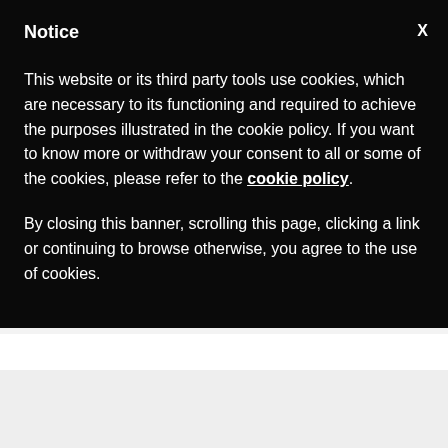Notice
This website or its third party tools use cookies, which are necessary to its functioning and required to achieve the purposes illustrated in the cookie policy. If you want to know more or withdraw your consent to all or some of the cookies, please refer to the cookie policy.
By closing this banner, scrolling this page, clicking a link or continuing to browse otherwise, you agree to the use of cookies.
on the Reform of the Roman Curia.
[Figure (logo): Vatican News logo with red and grey background, VATICAN.VA text]